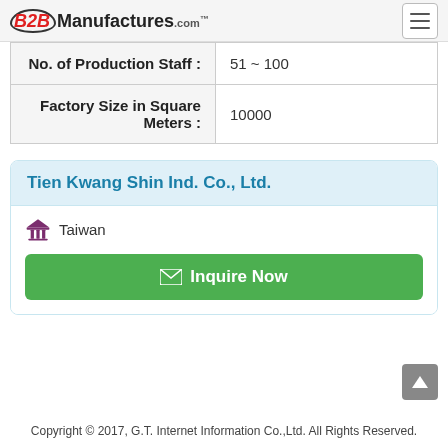B2BManufactures.com
| No. of Production Staff : | 51 ~ 100 |
| Factory Size in Square Meters : | 10000 |
Tien Kwang Shin Ind. Co., Ltd.
Taiwan
Inquire Now
Copyright © 2017, G.T. Internet Information Co.,Ltd. All Rights Reserved.